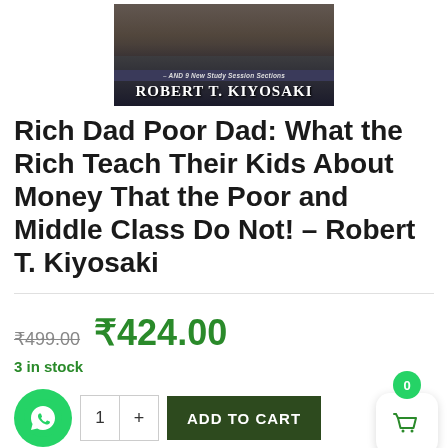[Figure (photo): Book cover of Rich Dad Poor Dad by Robert T. Kiyosaki showing the author's name and text '– AND 9 New Study Session Sections']
Rich Dad Poor Dad: What the Rich Teach Their Kids About Money That the Poor and Middle Class Do Not! – Robert T. Kiyosaki
₹499.00  ₹424.00
3 in stock
ADD TO CART